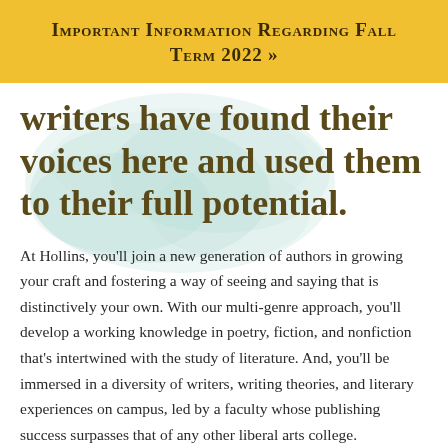Important Information Regarding Fall Term 2022 »
writers have found their voices here and used them to their full potential.
At Hollins, you'll join a new generation of authors in growing your craft and fostering a way of seeing and saying that is distinctively your own. With our multi-genre approach, you'll develop a working knowledge in poetry, fiction, and nonfiction that's intertwined with the study of literature. And, you'll be immersed in a diversity of writers, writing theories, and literary experiences on campus, led by a faculty whose publishing success surpasses that of any other liberal arts college.